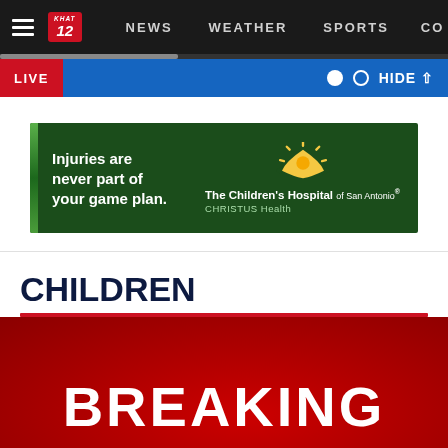NEWS  WEATHER  SPORTS  CO
[Figure (screenshot): Advertisement banner: The Children's Hospital of San Antonio - CHRISTUS Health. Text reads: Injuries are never part of your game plan.]
CHILDREN
[Figure (screenshot): Breaking news red background card with white bold text reading BREAKING]